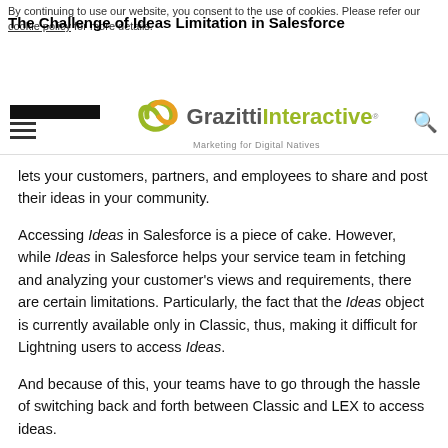By continuing to use our website, you consent to the use of cookies. Please refer our cookie policy for more details.
The Challenge of Ideas Limitation in Salesforce
[Figure (logo): Grazitti Interactive logo with spiral graphic and tagline 'Marketing for Digital Natives']
lets your customers, partners, and employees to share and post their ideas in your community.
Accessing Ideas in Salesforce is a piece of cake. However, while Ideas in Salesforce helps your service team in fetching and analyzing your customer's views and requirements, there are certain limitations. Particularly, the fact that the Ideas object is currently available only in Classic, thus, making it difficult for Lightning users to access Ideas.
And because of this, your teams have to go through the hassle of switching back and forth between Classic and LEX to access ideas.
To combat this challenge, Grazitti's Salesforce experts